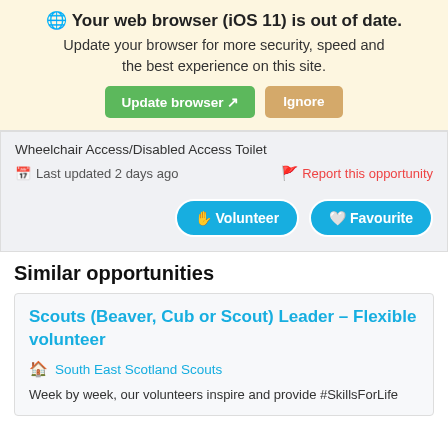🌐 Your web browser (iOS 11) is out of date. Update your browser for more security, speed and the best experience on this site. Update browser ↗  Ignore
Wheelchair Access/Disabled Access Toilet
Last updated 2 days ago
Report this opportunity
Volunteer  Favourite
Similar opportunities
Scouts (Beaver, Cub or Scout) Leader – Flexible volunteer
South East Scotland Scouts
Week by week, our volunteers inspire and provide #SkillsForLife